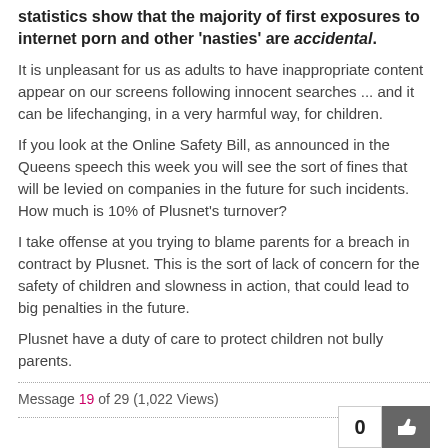statistics show that the majority of first exposures to internet porn and other 'nasties' are accidental.
It is unpleasant for us as adults to have inappropriate content appear on our screens following innocent searches ... and it can be lifechanging, in a very harmful way, for children.
If you look at the Online Safety Bill, as announced in the Queens speech this week you will see the sort of fines that will be levied on companies in the future for such incidents. How much is 10% of Plusnet's turnover?
I take offense at you trying to blame parents for a breach in contract by Plusnet. This is the sort of lack of concern for the safety of children and slowness in action, that could lead to big penalties in the future.
Plusnet have a duty of care to protect children not bully parents.
Message 19 of 29 (1,022 Views)